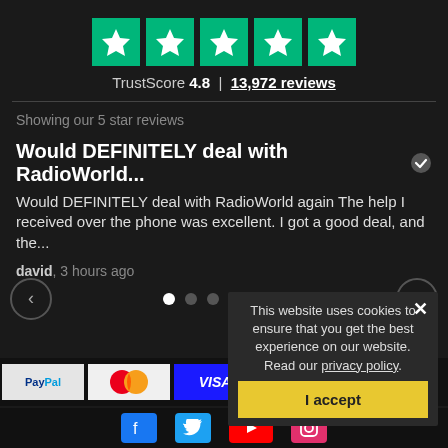[Figure (infographic): Five green Trustpilot star boxes with white star icons]
TrustScore 4.8 | 13,972 reviews
Showing our 5 star reviews
Would DEFINITELY deal with RadioWorld... ✓
Would DEFINITELY deal with RadioWorld again The help I received over the phone was excellent. I got a good deal, and the...
david, 3 hours ago
[Figure (infographic): Carousel navigation with left/right arrows and 6 pagination dots, first dot active]
This website uses cookies to ensure that you get the best experience on our website. Read our privacy policy.
I accept
[Figure (infographic): Payment logos row: PayPal, Mastercard, Visa, Maestro]
[Figure (infographic): Social media icons: Facebook, Twitter, YouTube, Instagram]